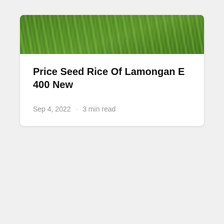[Figure (photo): Green rice field with grass/grain stalks, serving as a card header image]
Price Seed Rice Of Lamongan E 400 New
Sep 4, 2022 · 3 min read